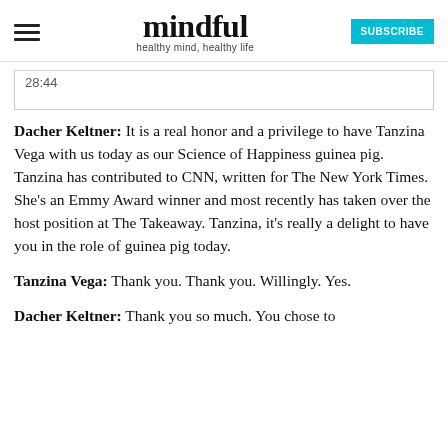mindful — healthy mind, healthy life — SUBSCRIBE
28:44
Dacher Keltner: It is a real honor and a privilege to have Tanzina Vega with us today as our Science of Happiness guinea pig. Tanzina has contributed to CNN, written for The New York Times. She's an Emmy Award winner and most recently has taken over the host position at The Takeaway. Tanzina, it's really a delight to have you in the role of guinea pig today.
Tanzina Vega: Thank you. Thank you. Willingly. Yes.
Dacher Keltner: Thank you so much. You chose to